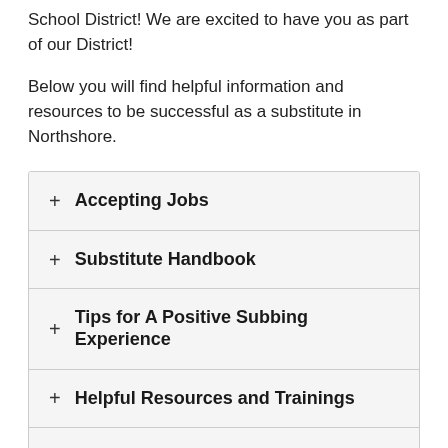School District! We are excited to have you as part of our District!
Below you will find helpful information and resources to be successful as a substitute in Northshore.
+ Accepting Jobs
+ Substitute Handbook
+ Tips for A Positive Subbing Experience
+ Helpful Resources and Trainings
+ District Map